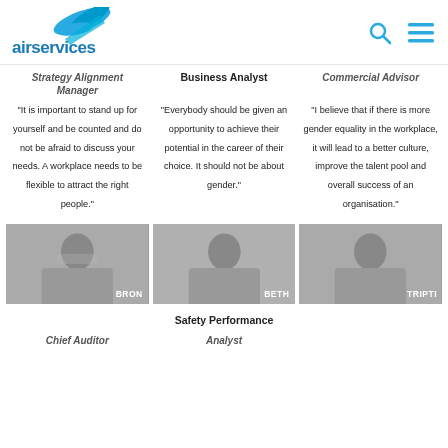[Figure (logo): Airservices Australia logo with teal bird/wing graphic and the text 'airservices']
Strategy Alignment Manager
Business Analyst
Commercial Advisor
"It is important to stand up for yourself and be counted and do not be afraid to discuss your needs. A workplace needs to be flexible to attract the right people."
"Everybody should be given an opportunity to achieve their potential in the career of their choice. It should not be about gender."
"I believe that if there is more gender equality in the workplace, it will lead to a better culture, improve the talent pool and overall success of an organisation."
[Figure (photo): Black and white photo of a woman named BRON in an office setting]
[Figure (photo): Black and white photo of a woman named BETH in an office setting]
[Figure (photo): Black and white photo of a woman named TRIPTI in an office setting]
Safety Performance
Chief Auditor
Analyst